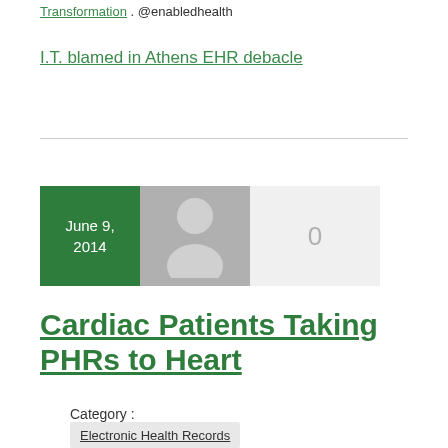Transformation . @enabledhealth
I.T. blamed in Athens EHR debacle
[Figure (infographic): Card block showing date June 9, 2014 in green box, a grey avatar/person silhouette, and a comment count of 0 in a light grey box]
Cardiac Patients Taking PHRs to Heart
Category :
Electronic Health Records